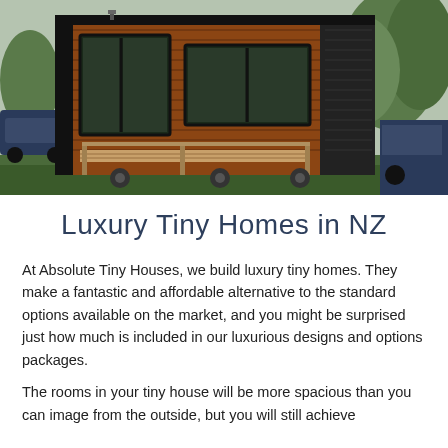[Figure (photo): Exterior photo of a luxury tiny house with warm cedar/red wood horizontal siding and black accents, featuring large dark-framed windows, a wooden ramp/deck, parked outdoors with trees and a vehicle visible in the background.]
Luxury Tiny Homes in NZ
At Absolute Tiny Houses, we build luxury tiny homes. They make a fantastic and affordable alternative to the standard options available on the market, and you might be surprised just how much is included in our luxurious designs and options packages.
The rooms in your tiny house will be more spacious than you can image from the outside, but you will still achieve the needs for downsizing you call for in its footprint and...